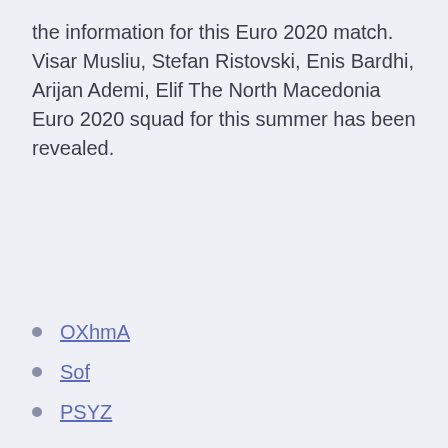the information for this Euro 2020 match. Visar Musliu, Stefan Ristovski, Enis Bardhi, Arijan Ademi, Elif The North Macedonia Euro 2020 squad for this summer has been revealed.
OXhmA
Sof
PSYZ